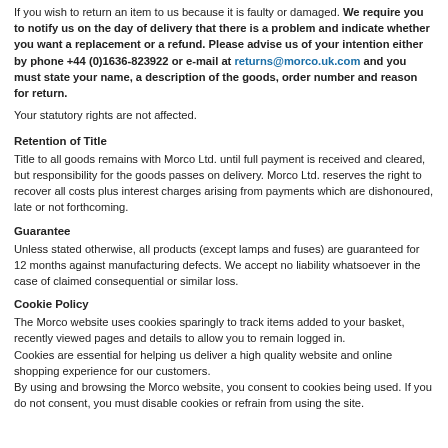If you wish to return an item to us because it is faulty or damaged. We require you to notify us on the day of delivery that there is a problem and indicate whether you want a replacement or a refund. Please advise us of your intention either by phone +44 (0)1636-823922 or e-mail at returns@morco.uk.com and you must state your name, a description of the goods, order number and reason for return.
Your statutory rights are not affected.
Retention of Title
Title to all goods remains with Morco Ltd. until full payment is received and cleared, but responsibility for the goods passes on delivery. Morco Ltd. reserves the right to recover all costs plus interest charges arising from payments which are dishonoured, late or not forthcoming.
Guarantee
Unless stated otherwise, all products (except lamps and fuses) are guaranteed for 12 months against manufacturing defects. We accept no liability whatsoever in the case of claimed consequential or similar loss.
Cookie Policy
The Morco website uses cookies sparingly to track items added to your basket, recently viewed pages and details to allow you to remain logged in.
Cookies are essential for helping us deliver a high quality website and online shopping experience for our customers.
By using and browsing the Morco website, you consent to cookies being used. If you do not consent, you must disable cookies or refrain from using the site.